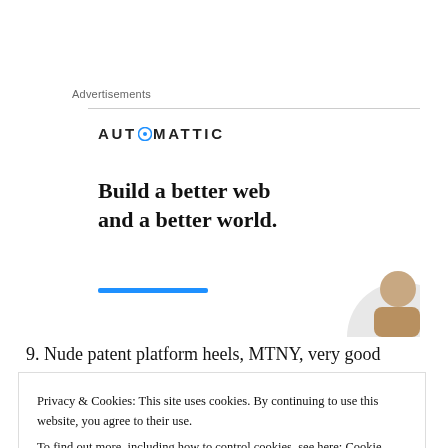Advertisements
[Figure (logo): Automattic advertisement banner with logo, tagline 'Build a better web and a better world.' and a person image with blue bar accent]
9. Nude patent platform heels, MTNY, very good
Privacy & Cookies: This site uses cookies. By continuing to use this website, you agree to their use. To find out more, including how to control cookies, see here: Cookie Policy
Close and accept